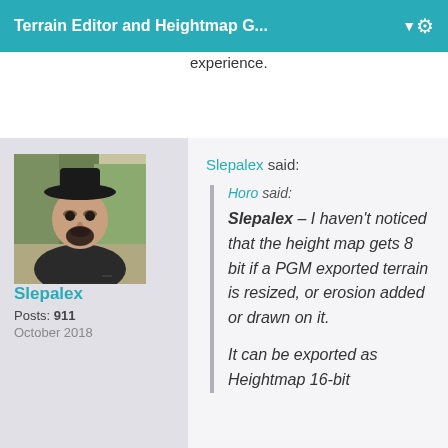Terrain Editor and Heightmap G... ▼
experience.
[Figure (illustration): User avatar portrait illustration of a man wearing a dark hat, with a beard, painted/drawn style]
Slepalex
Posts: 911
October 2018
Slepalex said:
Horo said:
Slepalex – I haven't noticed that the height map gets 8 bit if a PGM exported terrain is resized, or erosion added or drawn on it.
It can be exported as Heightmap 16-bit